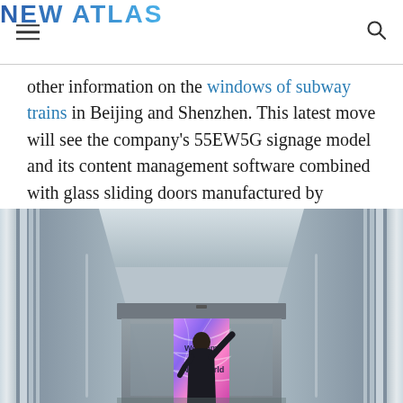NEW ATLAS
other information on the windows of subway trains in Beijing and Shenzhen. This latest move will see the company's 55EW5G signage model and its content management software combined with glass sliding doors manufactured by Sweden's Assa Abloy Entrance Systems.
[Figure (photo): Rendering of a person standing in front of automatic glass sliding doors displaying a colorful 'Welcome to the New World' screen, in a modern corridor with metallic walls.]